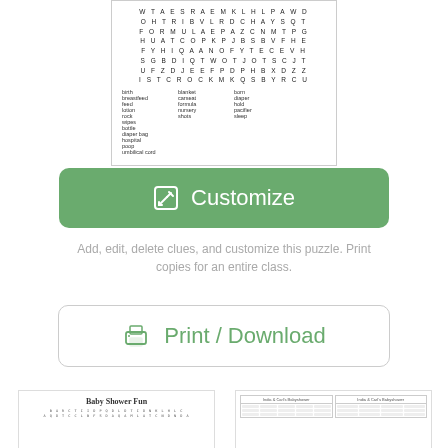[Figure (other): Word search puzzle preview card showing a letter grid with rows of letters and a word list below including: birth, breastfeed, feed, lotion, rock, wipes, blanket, carseat, formula, nursery, shots, born, diaper, hold, pacifier, sleep, bottle, diaper bag, hospital, poop, umbilical cord]
[Figure (other): Green rounded rectangle button with pencil/edit icon and text 'Customize']
Add, edit, delete clues, and customize this puzzle. Print copies for an entire class.
[Figure (other): White rounded rectangle button with printer icon and green text 'Print / Download']
[Figure (other): Left thumbnail showing 'Baby Shower Fun' word search puzzle preview with letter grid]
[Figure (other): Right thumbnail showing 'India & Carl's Babyshower' table/bingo card preview with two side-by-side table sections]